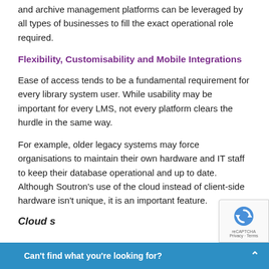and archive management platforms can be leveraged by all types of businesses to fill the exact operational role required.
Flexibility, Customisability and Mobile Integrations
Ease of access tends to be a fundamental requirement for every library system user. While usability may be important for every LMS, not every platform clears the hurdle in the same way.
For example, older legacy systems may force organisations to maintain their own hardware and IT staff to keep their database operational and up to date. Although Soutron's use of the cloud instead of client-side hardware isn't unique, it is an important feature.
Cloud s